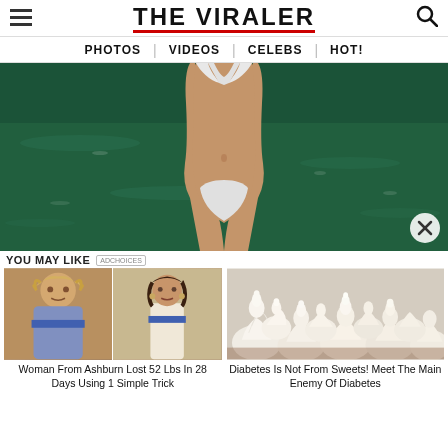THE VIRALER
PHOTOS | VIDEOS | CELEBS | HOT!
[Figure (photo): Woman in white bikini standing in front of water, torso/body shot]
YOU MAY LIKE
[Figure (photo): Before and after weight loss photos of a woman]
Woman From Ashburn Lost 52 Lbs In 28 Days Using 1 Simple Trick
[Figure (photo): White meringue cookies/sweets piled up]
Diabetes Is Not From Sweets! Meet The Main Enemy Of Diabetes